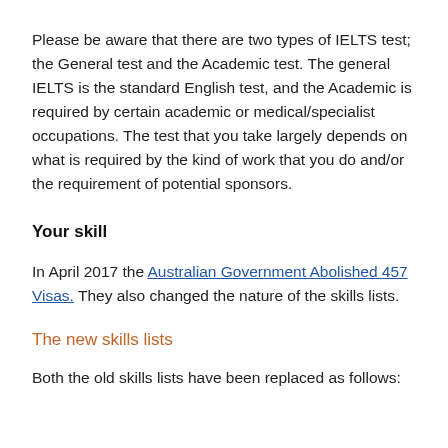Please be aware that there are two types of IELTS test; the General test and the Academic test. The general IELTS is the standard English test, and the Academic is required by certain academic or medical/specialist occupations. The test that you take largely depends on what is required by the kind of work that you do and/or the requirement of potential sponsors.
Your skill
In April 2017 the Australian Government Abolished 457 Visas. They also changed the nature of the skills lists.
The new skills lists
Both the old skills lists have been replaced as follows: